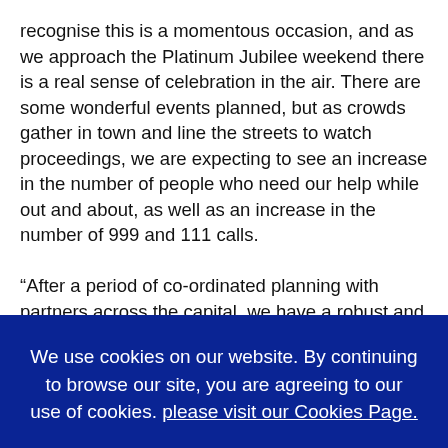recognise this is a momentous occasion, and as we approach the Platinum Jubilee weekend there is a real sense of celebration in the air. There are some wonderful events planned, but as crowds gather in town and line the streets to watch proceedings, we are expecting to see an increase in the number of people who need our help while out and about, as well as an increase in the number of 999 and 111 calls.

“After a period of co-ordinated planning with partners across the capital, we have a robust and established plan in place to respond to increased demand – this includes additional staff and volunteers working throughout the bank holiday
We use cookies on our website. By continuing to browse our site, you are agreeing to our use of cookies. please visit our Cookies Page.